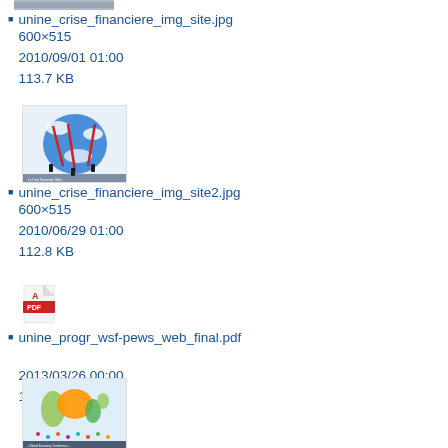[Figure (screenshot): Thumbnail image (partial, cropped at top) for unine_crise_financiere_img_site.jpg]
unine_crise_financiere_img_site.jpg
600×515
2010/09/01 01:00
113.7 KB
[Figure (photo): Thumbnail of unine_crise_financiere_img_site2.jpg showing globe with red angular structures]
unine_crise_financiere_img_site2.jpg
600×515
2010/06/29 01:00
112.8 KB
[Figure (other): PDF file icon for unine_progr_wsf-pews_web_final.pdf]
unine_progr_wsf-pews_web_final.pdf

2013/03/26 00:00
1.1 MB
[Figure (photo): Thumbnail of another image showing a world map with colorful figures/people]